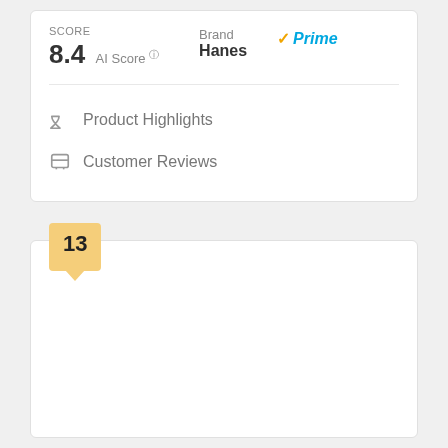SCORE
8.4 AI Score
Brand Hanes
Prime
Product Highlights
Customer Reviews
13